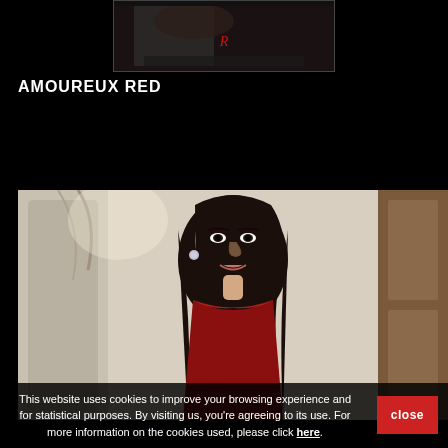[Figure (photo): Partial photo of a person in dark clothing, top portion of page]
AMOUREUX RED
[Figure (photo): Photo of a young woman with long dark hair, wearing a red dress, smiling, in an ornate room setting]
This website uses cookies to improve your browsing experience and for statistical purposes. By visiting us, you're agreeing to its use. For more information on the cookies used, please click here.